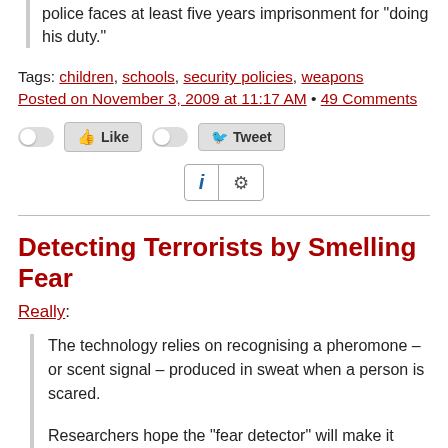police faces at least five years imprisonment for "doing his duty."
Tags: children, schools, security policies, weapons
Posted on November 3, 2009 at 11:17 AM • 49 Comments
[Figure (other): Social media buttons: toggle/Like and toggle/Tweet, plus an info/settings widget]
Detecting Terrorists by Smelling Fear
Really:
The technology relies on recognising a pheromone – or scent signal – produced in sweat when a person is scared.
Researchers hope the "fear detector" will make it possible to identify individuals at check points who are up to no good.
Terrorists with murder in mind, drug smugglers, or criminals on the run are likely to be very fearful of